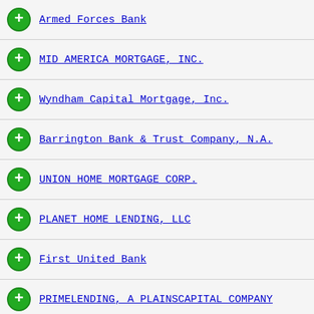Armed Forces Bank
MID AMERICA MORTGAGE, INC.
Wyndham Capital Mortgage, Inc.
Barrington Bank & Trust Company, N.A.
UNION HOME MORTGAGE CORP.
PLANET HOME LENDING, LLC
First United Bank
PRIMELENDING, A PLAINSCAPITAL COMPANY
HOMEBRIDGE FINANCIAL SERVICES, INC.